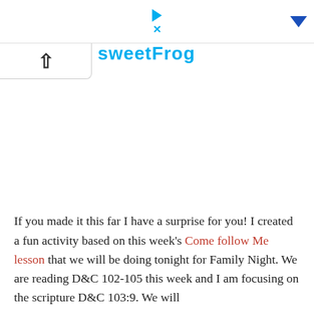sweetFrog
If you made it this far I have a surprise for you!  I created a fun activity based on this week's Come follow Me lesson that we will be doing tonight for Family Night. We are reading D&C 102-105 this week and I am focusing on the scripture D&C 103:9. We will